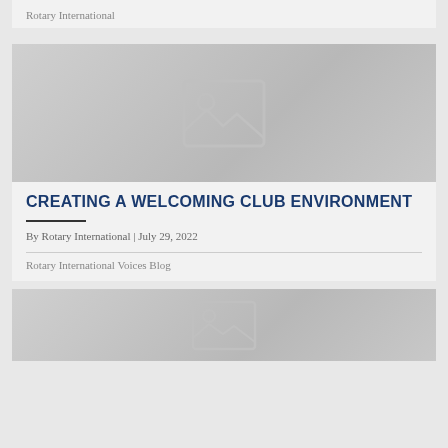Rotary International
[Figure (photo): Placeholder image with generic image icon (mountains and sun silhouette), gray gradient background]
CREATING A WELCOMING CLUB ENVIRONMENT
By Rotary International | July 29, 2022
Rotary International Voices Blog
[Figure (photo): Placeholder image at bottom, partially visible, gray gradient background with image icon]